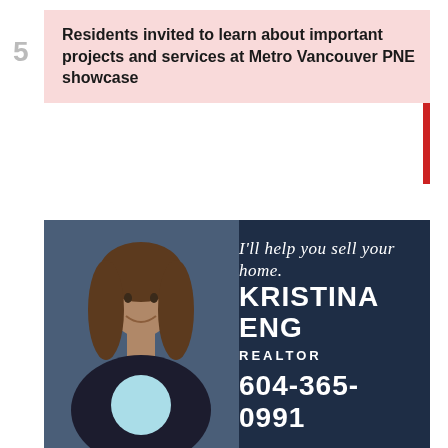Residents invited to learn about important projects and services at Metro Vancouver PNE showcase
[Figure (photo): Advertisement for Kristina Eng, Realtor at Sutton Group WestCoast Realty. Shows a woman smiling, with text 'I'll help you sell your home. KRISTINA ENG REALTOR 604-365-0991'. Bottom section shows Sutton Group WestCoast Realty logo and email kristinaeng77@gmail.com.]
[Figure (photo): Partial view of a second advertisement, showing a light-colored background with partial text/script visible.]